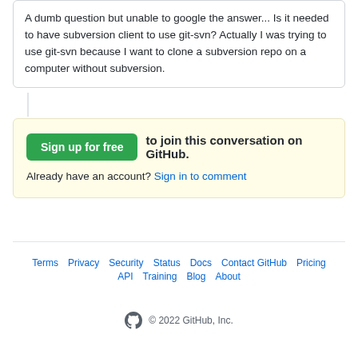A dumb question but unable to google the answer... Is it needed to have subversion client to use git-svn? Actually I was trying to use git-svn because I want to clone a subversion repo on a computer without subversion.
Sign up for free to join this conversation on GitHub. Already have an account? Sign in to comment
Terms · Privacy · Security · Status · Docs · Contact GitHub · Pricing · API · Training · Blog · About · © 2022 GitHub, Inc.